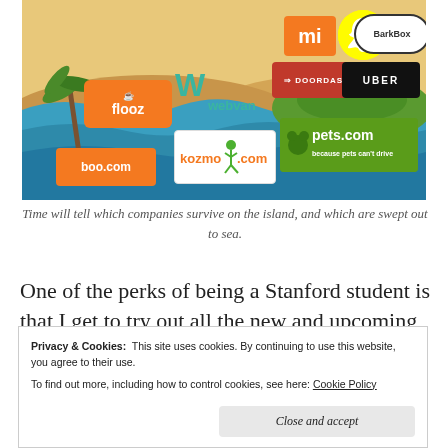[Figure (illustration): Colorful illustration of an island scene with various startup company logos including flooz, webvan, boo.com, kozmo.com, pets.com, Mi (Xiaomi), Snapchat, BarkBox, DoorDash, and Uber. The background shows ocean waves, sandy beach, and palm trees suggesting a 'survival of the fittest' theme for startups.]
Time will tell which companies survive on the island, and which are swept out to sea.
One of the perks of being a Stanford student is that I get to try out all the new and upcoming startups in Silicon Valley before
Privacy & Cookies: This site uses cookies. By continuing to use this website, you agree to their use. To find out more, including how to control cookies, see here: Cookie Policy
Close and accept